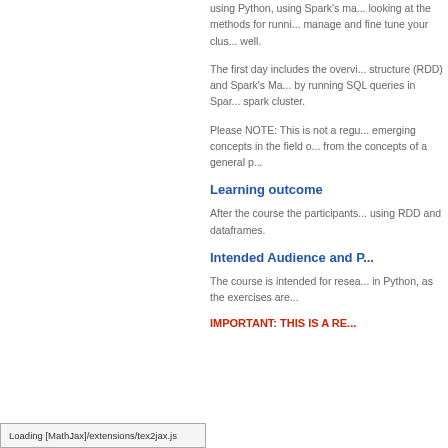using Python, using Spark's ma... looking at the methods for runni... manage and fine tune your clus... well.
The first day includes the overvi... structure (RDD) and Spark's Ma... by running SQL queries in Spar... spark cluster.
Please NOTE: This is not a regu... emerging concepts in the field o... from the concepts of a general p...
Learning outcome
After the course the participants... using RDD and dataframes.
Intended Audience and P...
The course is intended for resea... in Python, as the exercises are...
IMPORTANT: THIS IS A RE...
Loading [MathJax]/extensions/tex2jax.js